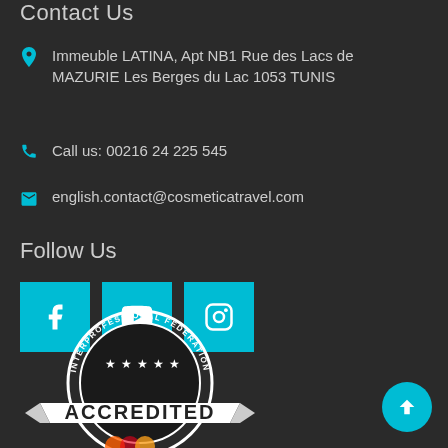Contact Us
Immeuble LATINA, Apt NB1 Rue des Lacs de MAZURIE Les Berges du Lac 1053 TUNIS
Call us: 00216 24 225 545
english.contact@cosmeticatravel.com
Follow Us
[Figure (illustration): Three social media icons: Facebook, YouTube, Instagram — teal square buttons with white icons]
[Figure (logo): Interprofessional Federation Accredited badge/seal with ACCREDITED text on a white ribbon banner, circular seal with stars]